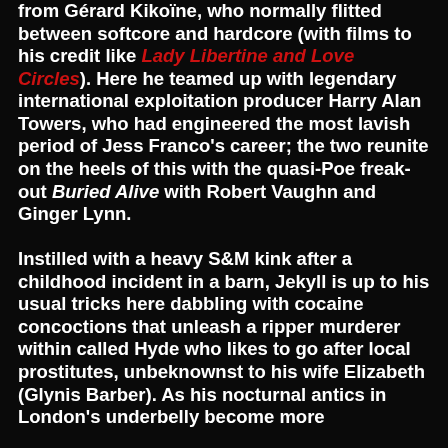from Gérard Kikoïne, who normally flitted between softcore and hardcore (with films to his credit like Lady Libertine and Love Circles). Here he teamed up with legendary international exploitation producer Harry Alan Towers, who had engineered the most lavish period of Jess Franco's career; the two reunite on the heels of this with the quasi-Poe freak-out Buried Alive with Robert Vaughn and Ginger Lynn.

Instilled with a heavy S&M kink after a childhood incident in a barn, Jekyll is up to his usual tricks here dabbling with cocaine concoctions that unleash a ripper murderer within called Hyde who likes to go after local prostitutes, unbeknownst to his wife Elizabeth (Glynis Barber). As his nocturnal antics in London's underbelly become more